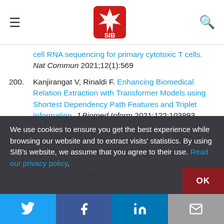SIB header with logo, menu, and search
cell RNA sequencing for primary cytotoxic T cells. Nat Commun 2021;12(1):569
200. Kanjirangat V, Rinaldi F. Enhancing Biomedical Relation Extraction with Transformer Models using Shortest Dependency Path Features and Triplet Information. J Biomed Inform 2021;122:103893
201. Karakulak T, Moch H, von Mering C, Kahraman A. Probing Isoform Switching Events in Various Cancer Types: Lessons From Pan-Cancer Studies. Front Mol Biosci 2021;8:658906
We use cookies to ensure you get the best experience while browsing our website and to extract visits' statistics. By using SIB's website, we assume that you agree to their use. Read our privacy policy.
Twitter, Facebook, LinkedIn, Email social sharing buttons